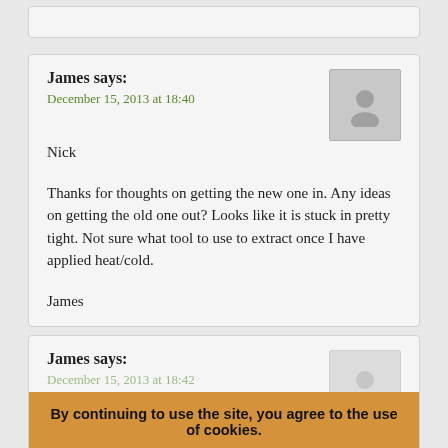James says:
December 15, 2013 at 18:40
Nick

Thanks for thoughts on getting the new one in. Any ideas on getting the old one out? Looks like it is stuck in pretty tight. Not sure what tool to use to extract once I have applied heat/cold.

James
James says:
December 15, 2013 at 18:42
Nick
Also thought readers might appreciate this excellent
By continuing to use the site, you agree to the use of cookies.
more information
Accept